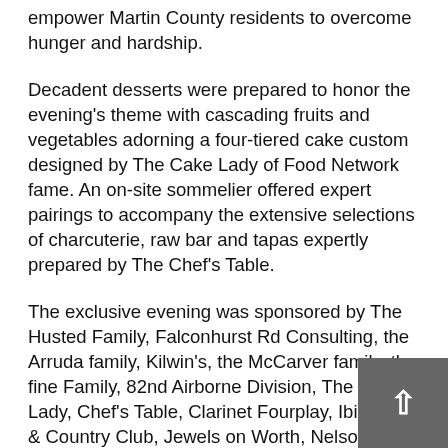empower Martin County residents to overcome hunger and hardship.
Decadent desserts were prepared to honor the evening’s theme with cascading fruits and vegetables adorning a four-tiered cake custom designed by The Cake Lady of Food Network fame. An on-site sommelier offered expert pairings to accompany the extensive selections of charcuterie, raw bar and tapas expertly prepared by The Chef’s Table.
The exclusive evening was sponsored by The Husted Family, Falconhurst Rd Consulting, the Arruda family, Kilwin’s, the McCarver family, the fine Family, 82nd Airborne Division, The Cake Lady, Chef’s Table, Clarinet Fourplay, Ibis Golf & Country Club, Jewels on Worth, Nelson Family Farms, Tequesta Brewing Company, Tito’s Handmade Vodka, Pure Energy Entertainment PCA National